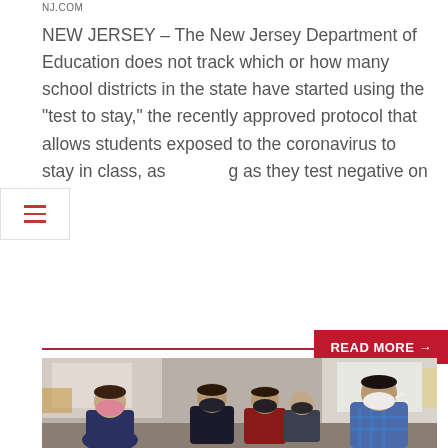NJ.COM
NEW JERSEY – The New Jersey Department of Education does not track which or how many school districts in the state have started using the “test to stay,” the recently approved protocol that allows students exposed to the coronavirus to stay in class, as long as they test negative on
[Figure (other): Read More button with crimson background and white text 'READ MORE →']
[Figure (photo): Classroom photo showing multiple elementary school children wearing face masks standing in a classroom. One girl on the left wears a GAP hoodie and pink floral mask. Several boys in the middle wear dark masks. A boy on the right in a blue plaid shirt holds something white and wears a white mask.]